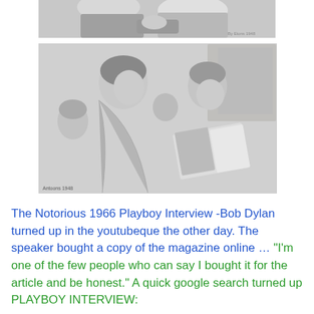[Figure (photo): Black and white photo showing a woman and another person looking at a magazine or book, cropped partial view]
[Figure (photo): Black and white photo of two young boys reading a magazine or book together, with other children visible in the background. Caption at bottom left reads 'Antoons 1948']
The Notorious 1966 Playboy Interview -Bob Dylan turned up in the youtubeque the other day. The speaker bought a copy of the magazine online … “I’m one of the few people who can say I bought it for the article and be honest.” A quick google search turned up PLAYBOY INTERVIEW: